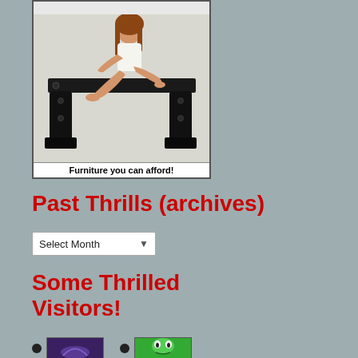[Figure (photo): Advertisement photo of a woman sitting on a large black furniture piece (table/bench), with caption 'Furniture you can afford!']
Past Thrills (archives)
Select Month (dropdown)
Some Thrilled Visitors!
[Figure (illustration): Two small avatar/icon images of website visitors, with bullet points next to each]